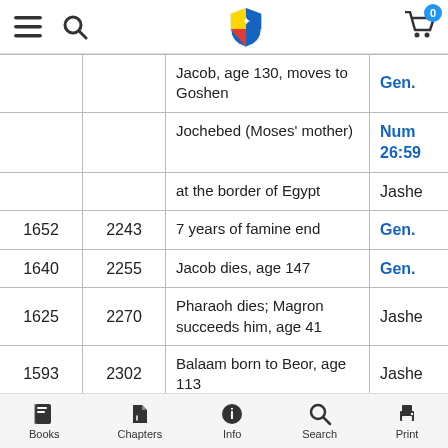Navigation bar with menu, search, shield logo, cart (0)
| BC | AM | Event | Ref |
| --- | --- | --- | --- |
|  |  | Jacob, age 130, moves to Goshen | Gen. |
|  |  | Jochebed (Moses' mother) | Num 26:59 |
|  |  | at the border of Egypt | Jashe |
| 1652 | 2243 | 7 years of famine end | Gen. |
| 1640 | 2255 | Jacob dies, age 147 | Gen. |
| 1625 | 2270 | Pharaoh dies; Magron succeeds him, age 41 | Jashe |
| 1593 | 2302 | Balaam born to Beor, age 113 | Jashe |
Books | Chapters | Info | Search | Print